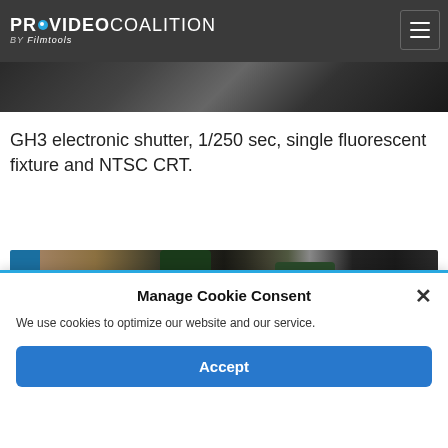PROVIDEO COALITION BY Filmtools
[Figure (photo): Partial view of a dark image strip at the top of the article]
GH3 electronic shutter, 1/250 sec, single fluorescent fixture and NTSC CRT.
[Figure (photo): Photo of glass bottles on a table including dark green wine/olive oil bottles and white plastic containers]
Manage Cookie Consent
We use cookies to optimize our website and our service.
Accept